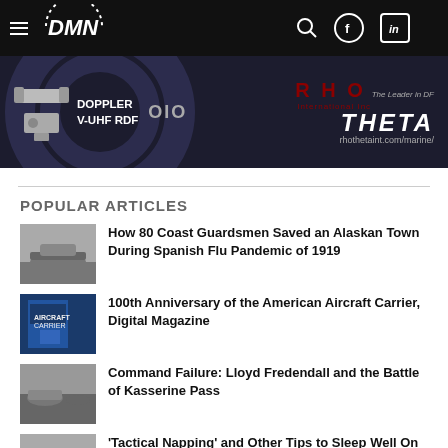DMN
[Figure (photo): Advertisement banner for RHO THETA International Inc - Doppler V-UHF RDF, rhothetaint.com/marine/]
POPULAR ARTICLES
How 80 Coast Guardsmen Saved an Alaskan Town During Spanish Flu Pandemic of 1919
100th Anniversary of the American Aircraft Carrier, Digital Magazine
Command Failure: Lloyd Fredendall and the Battle of Kasserine Pass
'Tactical Napping' and Other Tips to Sleep Well On Deployment